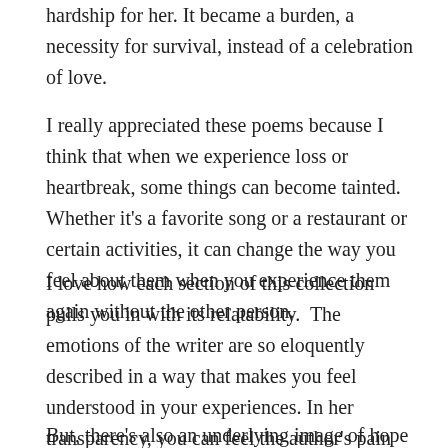hardship for her. It became a burden, a necessity for survival, instead of a celebration of love.
I really appreciated these poems because I think that when we experience loss or heartbreak, some things can become tainted. Whether it's a favorite song or a restaurant or certain activities, it can change the way you feel about them when you experience them again without the other person.
I love how each section of this collection pulls you in with its relatability.  The emotions of the writer are so eloquently described in a way that makes you feel understood in your experiences. In her transparency, you can feel the author's pain when she battles depression, heartbreak, and loss.
But, there's also an underlying image of hope throughout